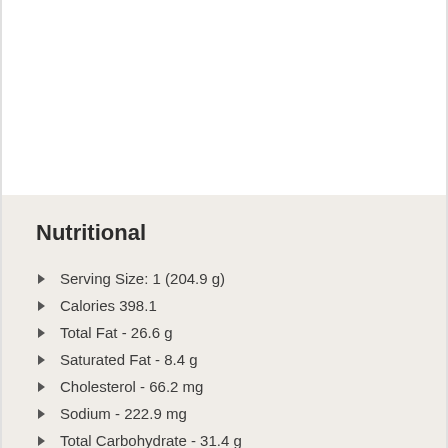Nutritional
Serving Size: 1 (204.9 g)
Calories 398.1
Total Fat - 26.6 g
Saturated Fat - 8.4 g
Cholesterol - 66.2 mg
Sodium - 222.9 mg
Total Carbohydrate - 31.4 g
Dietary Fiber - 2.1 g
Sugars - 6.8 g